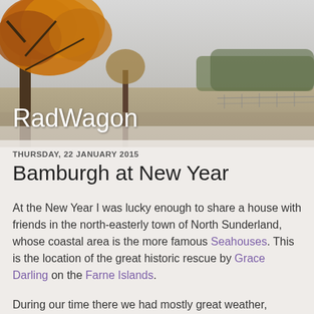[Figure (photo): Autumn/fall landscape with trees bearing orange and brown leaves on the left, open fields and more trees in the background on the right, sky is grey/overcast. Used as blog header banner image.]
RadWagon
THURSDAY, 22 JANUARY 2015
Bamburgh at New Year
At the New Year I was lucky enough to share a house with friends in the north-easterly town of North Sunderland, whose coastal area is the more famous Seahouses. This is the location of the great historic rescue by Grace Darling on the Farne Islands.
During our time there we had mostly great weather, including some windy, windy days (great for beach walks) and some fantastic sun-bathed days (also windy). I found the time to